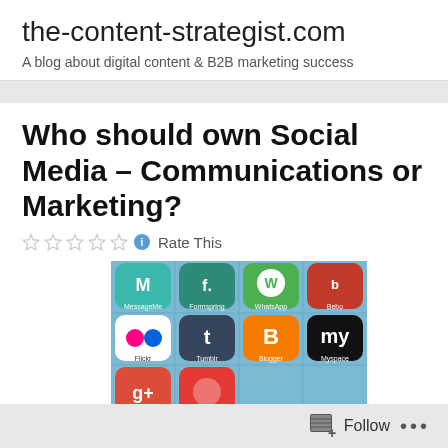the-content-strategist.com
A blog about digital content & B2B marketing success
Who should own Social Media – Communications or Marketing?
Rate This
[Figure (photo): Smartphone screen showing social media app icons including MessageMe, Formspring, WhatsApp, Bebo, Flickr, Tumblr, Blogger, Myspace, and Google+ icons on a blue grid background]
Follow ...